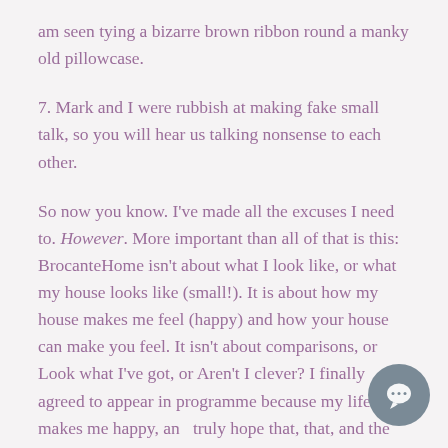am seen tying a bizarre brown ribbon round a manky old pillowcase.
7. Mark and I were rubbish at making fake small talk, so you will hear us talking nonsense to each other.
So now you know. I've made all the excuses I need to. However. More important than all of that is this: BrocanteHome isn't about what I look like, or what my house looks like (small!). It is about how my house makes me feel (happy) and how your house can make you feel. It isn't about comparisons, or Look what I've got, or Aren't I clever? I finally agreed to appear in programme because my life makes me happy, and I truly hope that, that, and the essence of
[Figure (illustration): Grey circular chat/comment bubble button in the bottom-right corner of the page]